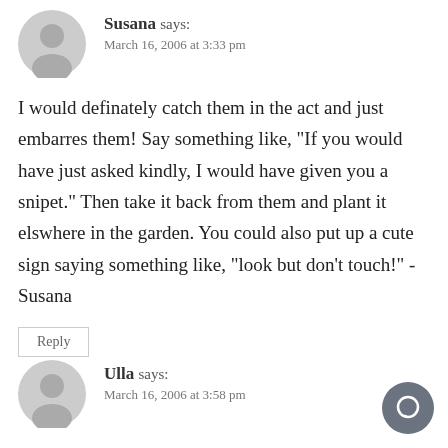Susana says:
March 16, 2006 at 3:33 pm
I would definately catch them in the act and just embarres them! Say something like, "If you would have just asked kindly, I would have given you a snipet." Then take it back from them and plant it elswhere in the garden. You could also put up a cute sign saying something like, "look but don't touch!" -Susana
Reply
Ulla says:
March 16, 2006 at 3:58 pm